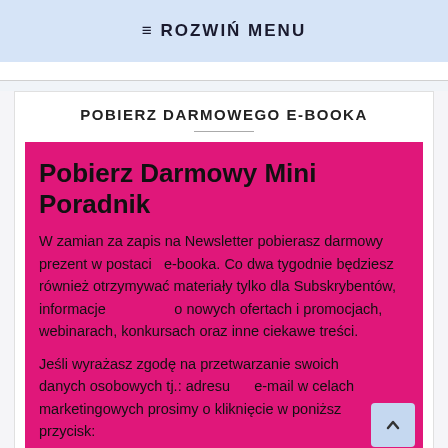≡ ROZWIŃ MENU
POBIERZ DARMOWEGO E-BOOKA
Pobierz Darmowy Mini Poradnik
W zamian za zapis na Newsletter pobierasz darmowy prezent w postaci  e-booka. Co dwa tygodnie będziesz również otrzymywać materiały tylko dla Subskrybentów, informacje o nowych ofertach i promocjach, webinarach, konkursach oraz inne ciekawe treści.
Jeśli wyrażasz zgodę na przetwarzanie swoich danych osobowych tj.: adresu e-mail w celach marketingowych prosimy o kliknięcie w poniższy przycisk: